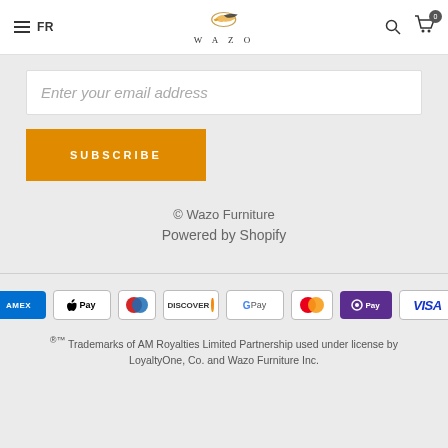FR — WAZO (logo)
Enter your email address
SUBSCRIBE
© Wazo Furniture
Powered by Shopify
[Figure (other): Payment method icons: AMEX, Apple Pay, Diners Club, Discover, Google Pay, Mastercard, OPay, Visa]
®™ Trademarks of AM Royalties Limited Partnership used under license by LoyaltyOne, Co. and Wazo Furniture Inc.